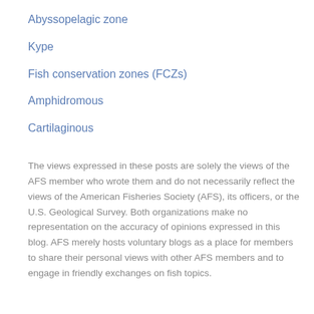Abyssopelagic zone
Kype
Fish conservation zones (FCZs)
Amphidromous
Cartilaginous
The views expressed in these posts are solely the views of the AFS member who wrote them and do not necessarily reflect the views of the American Fisheries Society (AFS), its officers, or the U.S. Geological Survey. Both organizations make no representation on the accuracy of opinions expressed in this blog. AFS merely hosts voluntary blogs as a place for members to share their personal views with other AFS members and to engage in friendly exchanges on fish topics.